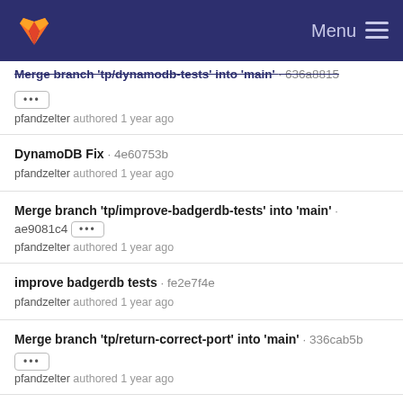GitLab — Menu
Merge branch 'tp/dynamodb-tests' into 'main' · 636a8815 · [...]
pfandzelter authored 1 year ago
DynamoDB Fix · 4e60753b
pfandzelter authored 1 year ago
Merge branch 'tp/improve-badgerdb-tests' into 'main' · ae9081c4 · [...]
pfandzelter authored 1 year ago
improve badgerdb tests · fe2e7f4e
pfandzelter authored 1 year ago
Merge branch 'tp/return-correct-port' into 'main' · 336cab5b · [...]
pfandzelter authored 1 year ago
Merge branch 'tp/update-3node-etcd' into 'main' · 18c7b493 · [...]